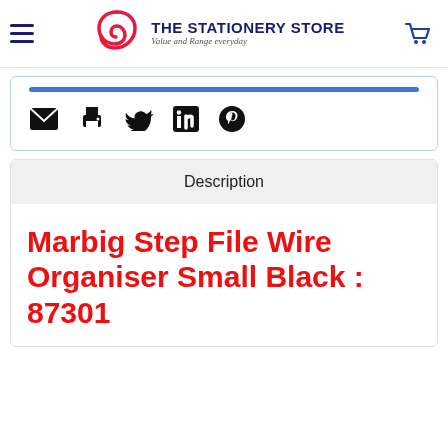THE STATIONERY STORE — Value and Range everyday
[Figure (other): Social sharing icons: email, print, Twitter, LinkedIn, Pinterest]
Description
Marbig Step File Wire Organiser Small Black : 87301